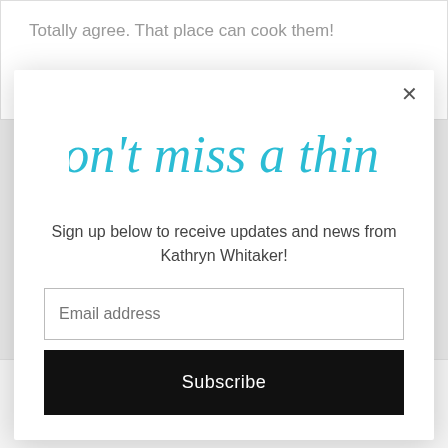Totally agree. That place can cook them!
[Figure (illustration): Modal popup with cursive 'Don't miss a thing!' heading in blue, email signup form with Subscribe button]
Sign up below to receive updates and news from Kathryn Whitaker!
Email address
Subscribe
Reply